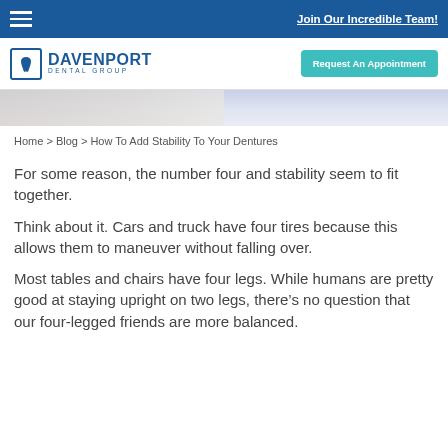Join Our Incredible Team!
[Figure (logo): Davenport Dental Group logo with tooth icon]
Request An Appointment
[Figure (photo): Partial photo of a dental professional in white coat]
Home > Blog > How To Add Stability To Your Dentures
For some reason, the number four and stability seem to fit together.
Think about it. Cars and truck have four tires because this allows them to maneuver without falling over.
Most tables and chairs have four legs. While humans are pretty good at staying upright on two legs, there’s no question that our four-legged friends are more balanced.